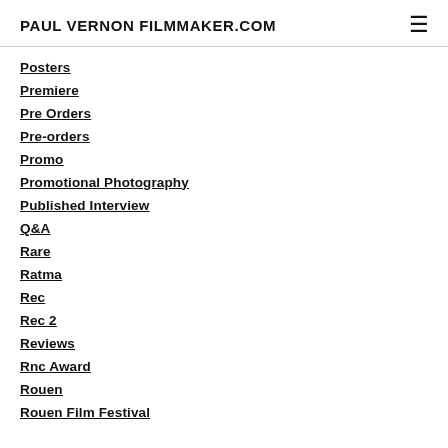PAUL VERNON FILMMAKER.COM
Posters
Premiere
Pre Orders
Pre-orders
Promo
Promotional Photography
Published Interview
Q&A
Rare
Ratma
Rec
Rec 2
Reviews
Rnc Award
Rouen
Rouen Film Festival